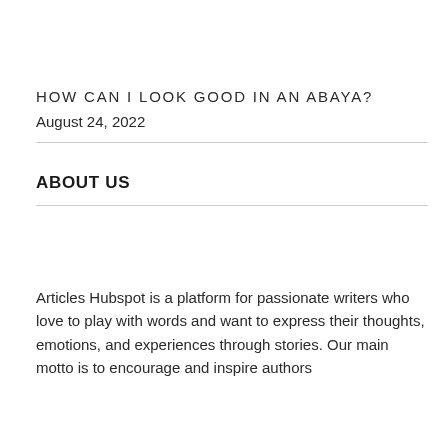HOW CAN I LOOK GOOD IN AN ABAYA?
August 24, 2022
ABOUT US
Articles Hubspot is a platform for passionate writers who love to play with words and want to express their thoughts, emotions, and experiences through stories. Our main motto is to encourage and inspire authors